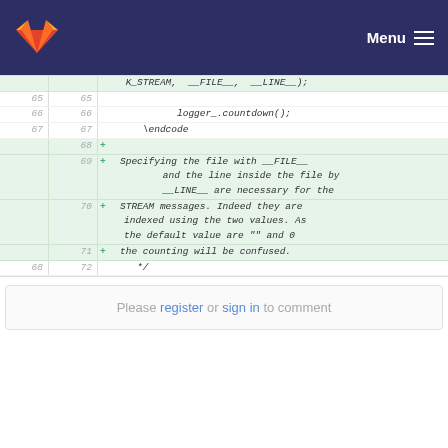Menu
[Figure (screenshot): Code diff view showing lines 65-72 with added lines 68-71 highlighted in green. Line 65-67 show unchanged code with logger_.countdown() and \endcode. Lines 68-71 are new additions showing a comment about specifying __FILE__ and __LINE__ for STREAM messages. Line 72 shows closing comment */]
Please register or sign in to comment